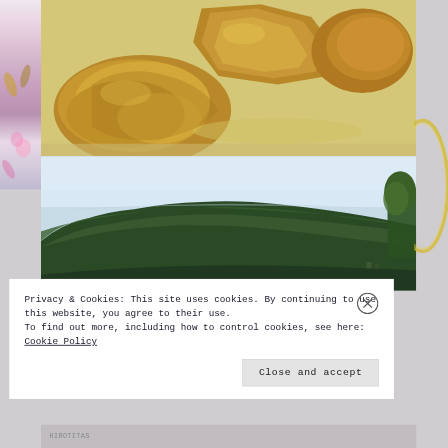[Figure (photo): Photo of rocks/stones in water or sandy surface, brownish-golden colored rocks]
[Figure (photo): Photo of a green forested mountain or hill under a light sky]
Privacy & Cookies: This site uses cookies. By continuing to use this website, you agree to their use.
To find out more, including how to control cookies, see here: Cookie Policy
Close and accept